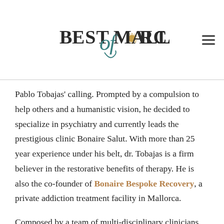Best of Mallorca
Pablo Tobajas' calling. Prompted by a compulsion to help others and a humanistic vision, he decided to specialize in psychiatry and currently leads the prestigious clinic Bonaire Salut. With more than 25 year experience under his belt, dr. Tobajas is a firm believer in the restorative benefits of therapy. He is also the co-founder of Bonaire Bespoke Recovery, a private addiction treatment facility in Mallorca.
Composed by a team of multi-disciplinary clinicians and qualified experts, including psychiatrists, psychologists